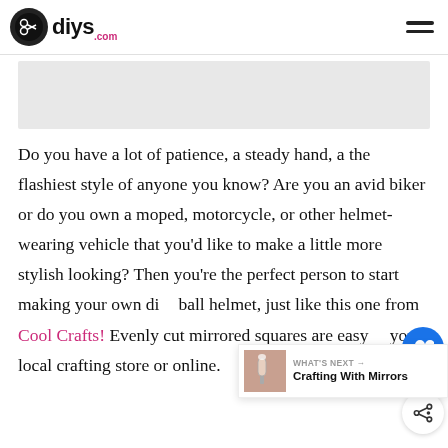diys.com
[Figure (other): Gray placeholder advertisement or image block]
Do you have a lot of patience, a steady hand, a the flashiest style of anyone you know? Are you an avid biker or do you own a moped, motorcycle, or other helmet-wearing vehicle that you'd like to make a little more stylish looking? Then you're the perfect person to start making your own di' ball helmet, just like this one from Cool Crafts! Evenly cut mirrored squares are easy a' your local crafting store or online.